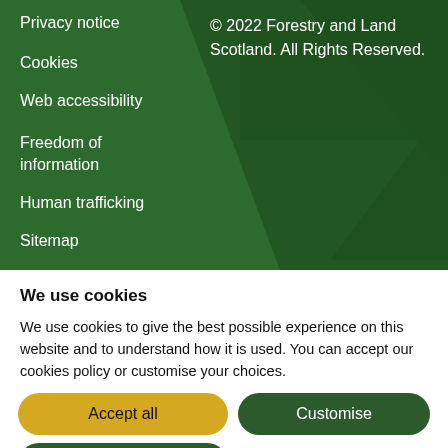Privacy notice
Cookies
Web accessibility
Freedom of information
Human trafficking
Sitemap
© 2022 Forestry and Land Scotland. All Rights Reserved.
We use cookies
We use cookies to give the best possible experience on this website and to understand how it is used. You can accept our cookies policy or customise your choices.
Accept all
Customise
Deny